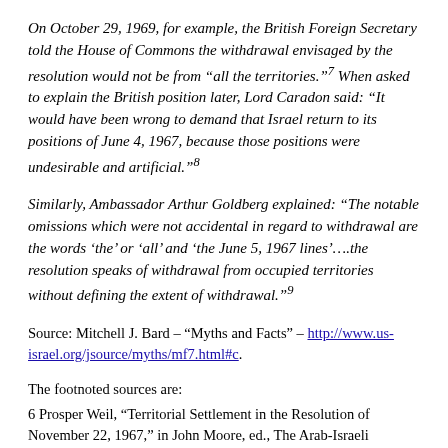On October 29, 1969, for example, the British Foreign Secretary told the House of Commons the withdrawal envisaged by the resolution would not be from “all the territories.”7 When asked to explain the British position later, Lord Caradon said: “It would have been wrong to demand that Israel return to its positions of June 4, 1967, because those positions were undesirable and artificial.”8
Similarly, Ambassador Arthur Goldberg explained: “The notable omissions which were not accidental in regard to withdrawal are the words ‘the’ or ‘all’ and ‘the June 5, 1967 lines’….the resolution speaks of withdrawal from occupied territories without defining the extent of withdrawal.”9
Source: Mitchell J. Bard – “Myths and Facts” – http://www.us-israel.org/jsource/myths/mf7.html#c.
The footnoted sources are:
6 Prosper Weil, “Territorial Settlement in the Resolution of November 22, 1967,” in John Moore, ed., The Arab-Israeli Conflict, (NJ: Princeton University Press, 1974), p. 321.